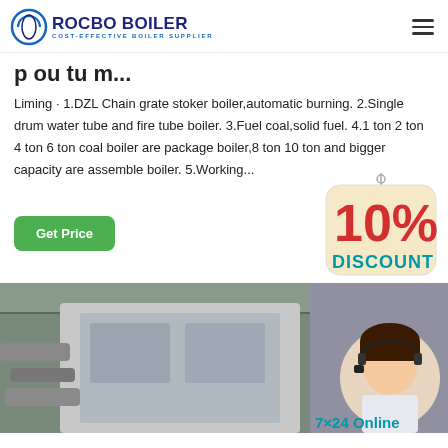ROCBO BOILER - COST-EFFECTIVE BOILER SUPPLIER
p ou tu m...
Liming · 1.DZL Chain grate stoker boiler,automatic burning. 2.Single drum water tube and fire tube boiler. 3.Fuel coal,solid fuel. 4.1 ton 2 ton 4 ton 6 ton coal boiler are package boiler,8 ton 10 ton and bigger capacity are assemble boiler. 5.Working...
[Figure (other): 10% DISCOUNT promotional badge, hanging sign style with red and teal text on cream background]
[Figure (photo): Industrial boiler equipment photo showing large machinery in a factory setting with a customer service representative overlay in bottom right corner]